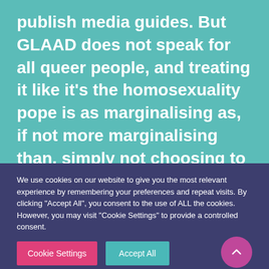publish media guides. But GLAAD does not speak for all queer people, and treating it like it’s the homosexuality pope is as marginalising as, if not more marginalising than, simply not choosing to reference GLAAD’s Media Guide when you write your blurbs.”
We use cookies on our website to give you the most relevant experience by remembering your preferences and repeat visits. By clicking “Accept All”, you consent to the use of ALL the cookies. However, you may visit "Cookie Settings" to provide a controlled consent.